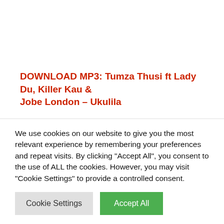DOWNLOAD MP3: Tumza Thusi ft Lady Du, Killer Kau & Jobe London – Ukulila
Related Posts:
ALBUM: Tumza Thusi - Kgosi Is King
Tumza Thusi ft Killer Kau, Jobe London & Kamo Mphela - Take It To The Top
We use cookies on our website to give you the most relevant experience by remembering your preferences and repeat visits. By clicking "Accept All", you consent to the use of ALL the cookies. However, you may visit "Cookie Settings" to provide a controlled consent.